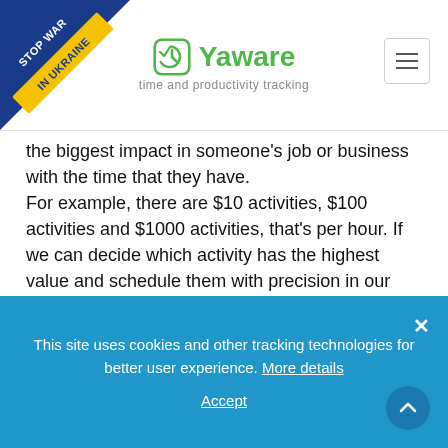Yaware — time and productivity tracking
the biggest impact in someone's job or business with the time that they have.
For example, there are $10 activities, $100 activities and $1000 activities, that's per hour. If we can decide which activity has the highest value and schedule them with precision in our diary more efficiently, than we can make more impact. And that's what it's about.
6. What are the do's and dont's for high productivity?
This site uses cookies and other tracking technologies for better user experience. More details
Accept